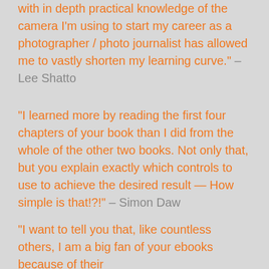with in depth practical knowledge of the camera I'm using to start my career as a photographer / photo journalist has allowed me to vastly shorten my learning curve." – Lee Shatto
"I learned more by reading the first four chapters of your book than I did from the whole of the other two books. Not only that, but you explain exactly which controls to use to achieve the desired result — How simple is that!?!" – Simon Daw
"I want to tell you that, like countless others, I am a big fan of your ebooks because of their